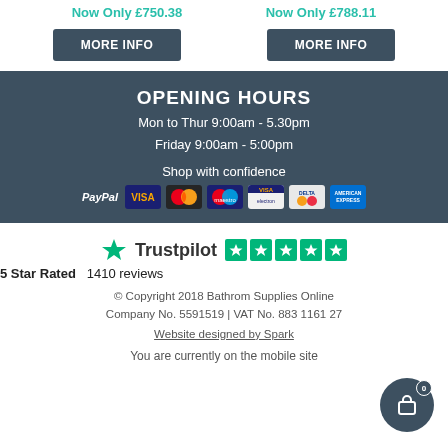Now Only £750.38   Now Only £788.11
MORE INFO   MORE INFO
OPENING HOURS
Mon to Thur 9:00am - 5.30pm
Friday 9:00am - 5:00pm
Shop with confidence
[Figure (logo): Payment method logos: PayPal, Visa, Mastercard, Maestro, Visa Electron, Delta, American Express]
[Figure (logo): Trustpilot logo with green star and 5 green star rating squares]
5 Star Rated   1410 reviews
© Copyright 2018 Bathrom Supplies Online
Company No. 5591519 | VAT No. 883 1161 27
Website designed by Spark
You are currently on the mobile site